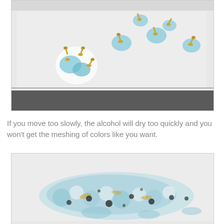[Figure (photo): Photo showing gold-colored screws or pins with blue ink/dye splatter marks on a white surface, scattered in a pattern.]
If you move too slowly, the alcohol will dry too quickly and you won't get the meshing of colors like you want.
[Figure (photo): Photo showing a close-up of blue and gold/black splattered paint or ink on a white surface, demonstrating meshing of colors with alcohol technique.]